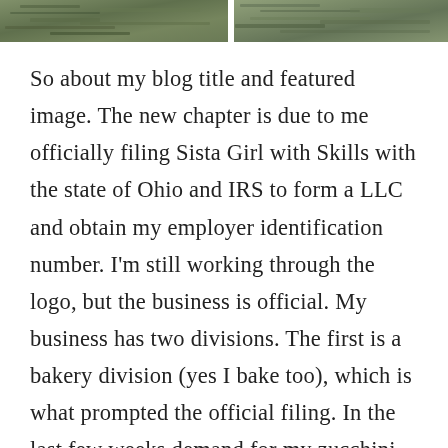[Figure (photo): Two cropped nature/outdoor photos side by side, showing green foliage or water scene]
So about my blog title and featured image. The new chapter is due to me officially filing Sista Girl with Skills with the state of Ohio and IRS to form a LLC and obtain my employer identification number. I'm still working through the logo, but the business is official. My business has two divisions. The first is a bakery division (yes I bake too), which is what prompted the official filing. In the last few weeks demand for my zucchini bread, zucchini muffins, and carrot muffins has soared. I am an official cottage industry and I have aspirations of taking it bigger. The second division I'll keep under wraps